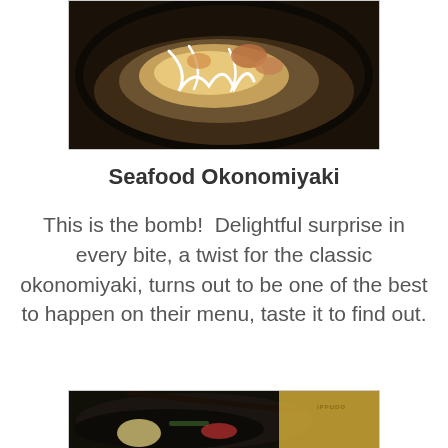[Figure (photo): Close-up photo of a seafood okonomiyaki dish on a dark plate, topped with white mayonnaise drizzle and various seafood toppings]
Seafood Okonomiyaki
This is the bomb!  Delightful surprise in every bite, a twist for the classic okonomiyaki, turns out to be one of the best to happen on their menu, taste it to find out.
[Figure (photo): Close-up photo of a dark ramen bowl from Ippudo restaurant, containing black broth with noodles, a soft-boiled egg, green onions, and red chili, with chopsticks resting across the bowl. The Ippudo logo is visible on packaging in the background.]